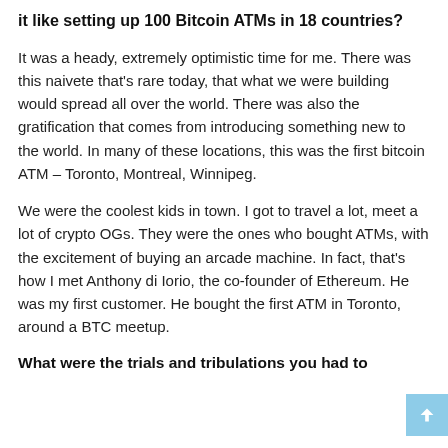it like setting up 100 Bitcoin ATMs in 18 countries?
It was a heady, extremely optimistic time for me. There was this naivete that's rare today, that what we were building would spread all over the world. There was also the gratification that comes from introducing something new to the world. In many of these locations, this was the first bitcoin ATM – Toronto, Montreal, Winnipeg.
We were the coolest kids in town. I got to travel a lot, meet a lot of crypto OGs. They were the ones who bought ATMs, with the excitement of buying an arcade machine. In fact, that's how I met Anthony di Iorio, the co-founder of Ethereum. He was my first customer. He bought the first ATM in Toronto, around a BTC meetup.
What were the trials and tribulations you had to